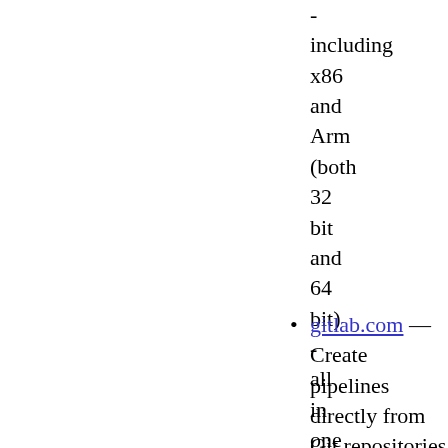- including x86 and Arm (both 32 bit and 64 bit) - all in one place
gitlab.com — Create pipelines directly from Git repositories using GitLab's CI...